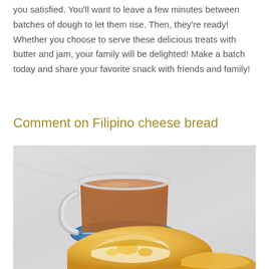you satisfied. You'll want to leave a few minutes between batches of dough to let them rise. Then, they're ready! Whether you choose to serve these delicious treats with butter and jam, your family will be delighted! Make a batch today and share your favorite snack with friends and family!
Comment on Filipino cheese bread
[Figure (photo): A glass mug of coffee on a decorative blue coaster, with Filipino cheese bread (pan de sal style) in the foreground, showing a fluffy, golden-baked roll torn open to reveal the cheesy interior.]